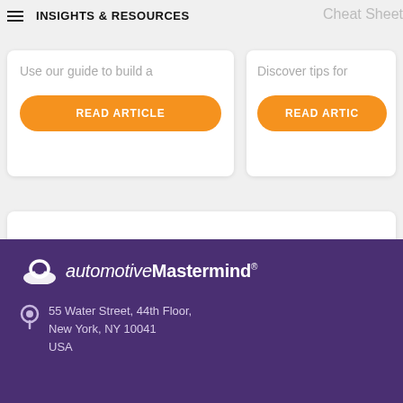INSIGHTS & RESOURCES
Use our guide to build a
READ ARTICLE
Cheat Sheet
Discover tips for
READ ARTICLE
Return to Home
[Figure (logo): automotiveMastermind logo with icon, white text on purple background]
55 Water Street, 44th Floor,
New York, NY 10041
USA